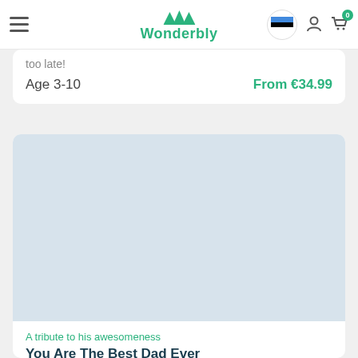Wonderbly
too late!
Age 3-10    From €34.99
[Figure (photo): Light blue/grey placeholder product image area]
A tribute to his awesomeness
You Are The Best Dad Ever